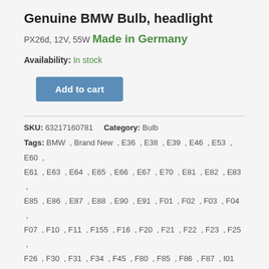Genuine BMW Bulb, headlight
PX26d, 12V, 55W
Made in Germany
Availability: In stock
Add to cart
SKU: 63217160781    Category: Bulb
Tags: BMW , Brand New , E36 , E38 , E39 , E46 , E53 , E60 , E61 , E63 , E64 , E65 , E66 , E67 , E70 , E81 , E82 , E83 , E85 , E86 , E87 , E88 , E90 , E91 , F01 , F02 , F03 , F04 , F07 , F10 , F11 , F155 , F16 , F20 , F21 , F22 , F23 , F25 , F26 , F30 , F31 , F34 , F45 , F80 , F85 , F86 , F87 , I01
Description